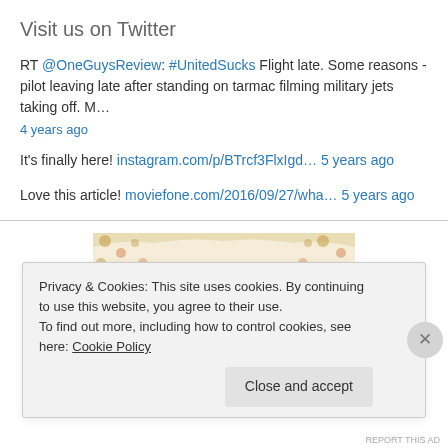Visit us on Twitter
RT @OneGuysReview: #UnitedSucks Flight late. Some reasons - pilot leaving late after standing on tarmac filming military jets taking off. M… 4 years ago
It's finally here! instagram.com/p/BTrcf3FlxIgd… 5 years ago
Love this article! moviefone.com/2016/09/27/wha… 5 years ago
[Figure (illustration): Partial decorative image with polka dot pattern, cream and warm colors]
Privacy & Cookies: This site uses cookies. By continuing to use this website, you agree to their use.
To find out more, including how to control cookies, see here: Cookie Policy
Close and accept